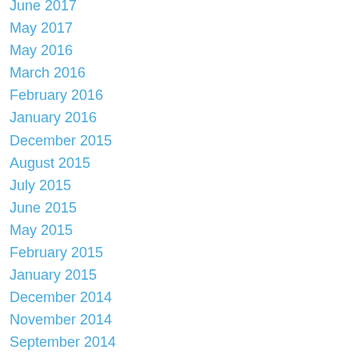June 2017
May 2017
May 2016
March 2016
February 2016
January 2016
December 2015
August 2015
July 2015
June 2015
May 2015
February 2015
January 2015
December 2014
November 2014
September 2014
August 2014
June 2014
May 2014
April 2014
March 2014